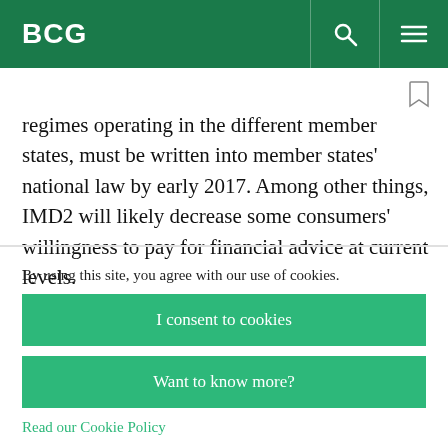BCG
regimes operating in the different member states, must be written into member states' national law by early 2017. Among other things, IMD2 will likely decrease some consumers' willingness to pay for financial advice at current levels.
By using this site, you agree with our use of cookies.
I consent to cookies
Want to know more?
Read our Cookie Policy